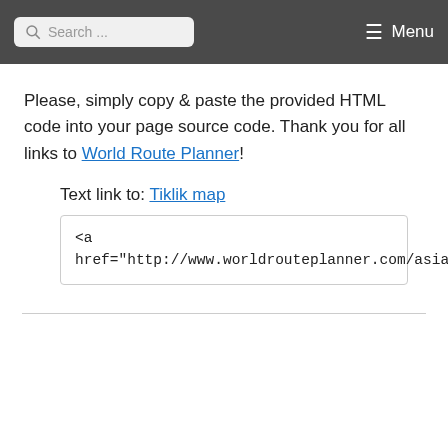Search ... Menu
Please, simply copy & paste the provided HTML code into your page source code. Thank you for all links to World Route Planner!
Text link to: Tiklik map
<a href="http://www.worldrouteplanner.com/asia